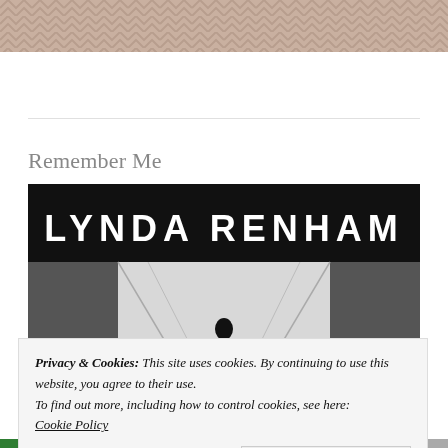[Figure (illustration): Top decorative chevron/herringbone pattern in warm beige/tan color]
Remember Me
[Figure (photo): Book cover for 'Remember Me' by Lynda Renham. Black and white photo of a person silhouetted in a bright tunnel or corridor, with large white text 'LYNDA RENHAM' on a black banner across the top of the image.]
Privacy & Cookies: This site uses cookies. By continuing to use this website, you agree to their use.
To find out more, including how to control cookies, see here:
Cookie Policy
Close and accept